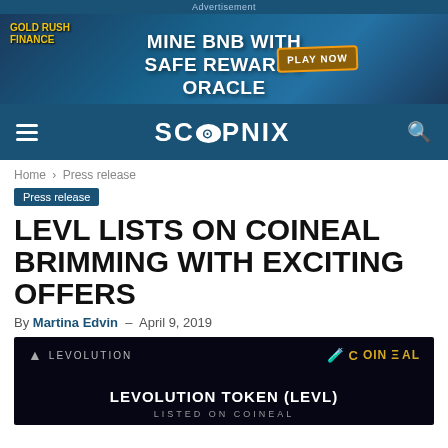Advertisement
[Figure (other): Advertisement banner for Gold Rush Finance: 'MINE BNB WITH SAFE REWARDS ORACLE' with PLAY NOW button]
SCOOPNIX navigation bar with hamburger menu and search icon
Home › Press release
Press release
LEVL LISTS ON COINEAL BRIMMING WITH EXCITING OFFERS
By Martina Edvin - April 9, 2019
[Figure (photo): Dark banner image showing LEVOLUTION logo and COINEAL logo at top, with text 'LEVOLUTION TOKEN (LEVL)' and 'LISTED ON COINEAL' in the center]